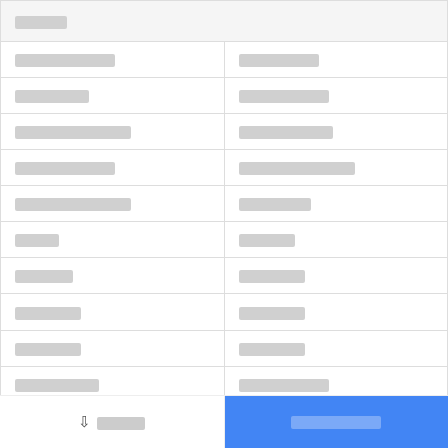| [redacted] |  |
| --- | --- |
| [redacted] | [redacted] |
| [redacted] | [redacted] |
| [redacted] | [redacted] |
| [redacted] | [redacted] |
| [redacted] | [redacted] |
| [redacted] | [redacted] |
| [redacted] | [redacted] |
| [redacted] | [redacted] |
| [redacted] | [redacted] |
| [redacted] | [redacted] |
[download button] [action button]